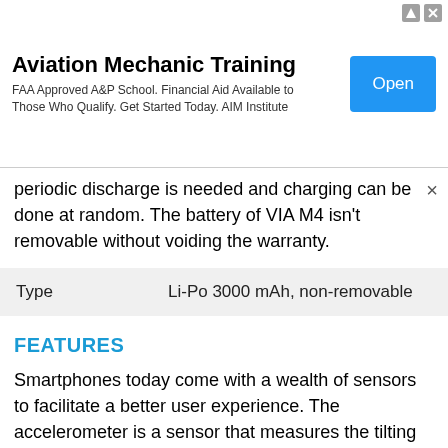[Figure (other): Advertisement banner for Aviation Mechanic Training. Shows title 'Aviation Mechanic Training', subtitle 'FAA Approved A&P School. Financial Aid Available to Those Who Qualify. Get Started Today. AIM Institute', and a blue 'Open' button. Has ad indicator icons in top right.]
periodic discharge is needed and charging can be done at random. The battery of VIA M4 isn't removable without voiding the warranty.
| Type | Li-Po 3000 mAh, non-removable |
FEATURES
Smartphones today come with a wealth of sensors to facilitate a better user experience. The accelerometer is a sensor that measures the tilting motion and orientation of the phone. The VIA M4 phone has a fingerprint scanner. This sensor identifies and authenticates the fingerprints of an